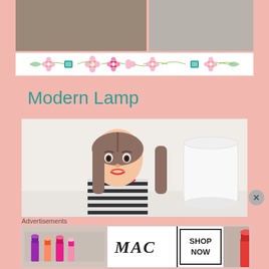[Figure (photo): Two photographs side by side showing craft/hobby items on a surface, partially cropped at top]
[Figure (illustration): Decorative floral and gem divider strip with pink flowers, green leaves, and teal gem icons]
Modern Lamp
[Figure (photo): A Barbie doll with brown hair and striped outfit next to a white cylindrical lamp shade on a light background]
Advertisements
[Figure (photo): MAC Cosmetics advertisement banner showing lipsticks in purple, peach, and pink colors with MAC logo and SHOP NOW button]